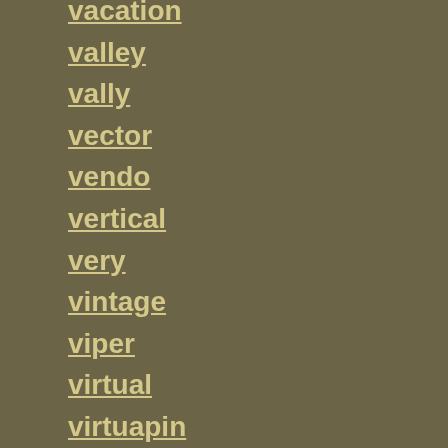vacation
valley
vally
vector
vendo
vertical
very
vintage
viper
virtual
virtuapin
volcano
volley
vpcabs
walking
warning